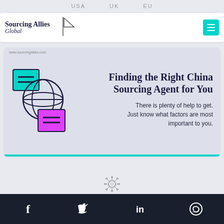USA   UK   EU
guide will get you off to a great start.
[Figure (logo): Sourcing Allies Global logo with triangle graphic and teal menu button]
[Figure (infographic): Finding the Right China Sourcing Agent for You - infographic with globe and document icons. Text: There is plenty of help to get. Just know what factors are most important to you. URL: www.sourcingallies.com]
[Figure (illustration): Small virus/molecule icon]
[Figure (infographic): Social media footer bar with Facebook, Twitter, LinkedIn, and WhatsApp icons on dark navy background]